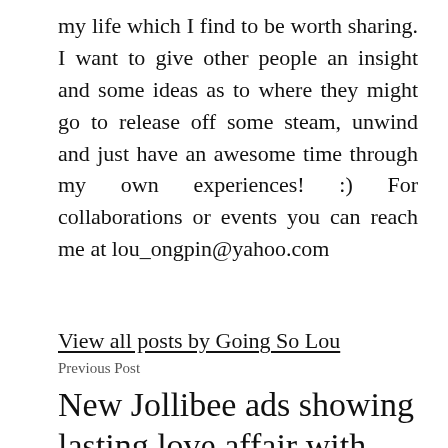my life which I find to be worth sharing. I want to give other people an insight and some ideas as to where they might go to release off some steam, unwind and just have an awesome time through my own experiences! :) For collaborations or events you can reach me at lou_ongpin@yahoo.com
View all posts by Going So Lou
Previous Post
New Jollibee ads showing lasting love affair with Pinoys debut this Valentine's Day